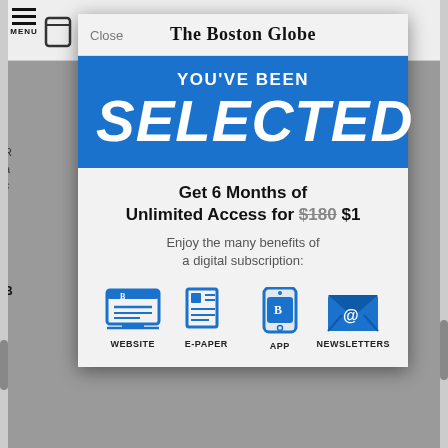[Figure (screenshot): Screenshot of The Boston Globe website with a subscription modal overlay. The modal shows 'YOU'VE BEEN SELECTED' in a blue banner, followed by 'Get 6 Months of Unlimited Access for $180 $1' and benefit icons for WEBSITE, E-PAPER, APP, NEWSLETTERS.]
The Boston Globe
YOU'VE BEEN
SELECTED
Get 6 Months of Unlimited Access for $180 $1
Enjoy the many benefits of a digital subscription:
WEBSITE
E-PAPER
APP
NEWSLETTERS